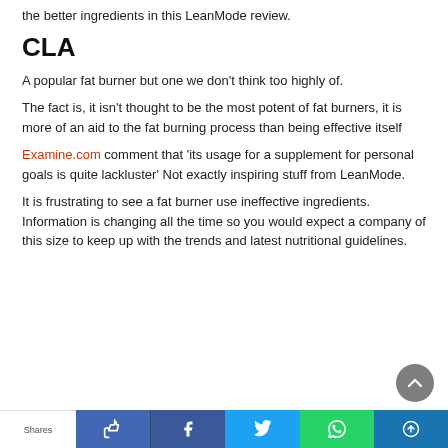the better ingredients in this LeanMode review.
CLA
A popular fat burner but one we don't think too highly of.
The fact is, it isn't thought to be the most potent of fat burners, it is more of an aid to the fat burning process than being effective itself
Examine.com comment that 'its usage for a supplement for personal goals is quite lackluster' Not exactly inspiring stuff from LeanMode.
It is frustrating to see a fat burner use ineffective ingredients. Information is changing all the time so you would expect a company of this size to keep up with the trends and latest nutritional guidelines.